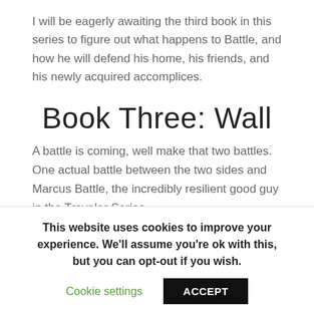I will be eagerly awaiting the third book in this series to figure out what happens to Battle, and how he will defend his home, his friends, and his newly acquired accomplices.
Book Three: Wall
A battle is coming, well make that two battles.  One actual battle between the two sides and Marcus Battle, the incredibly resilient good guy in the Traveler Series.
The narration for Wall was done by Kevin Pierce who has done the entire Traveler series and done an awesome job on them.  As I've stated time and time again, Pierce just has one
This website uses cookies to improve your experience. We'll assume you're ok with this, but you can opt-out if you wish.
Cookie settings
ACCEPT